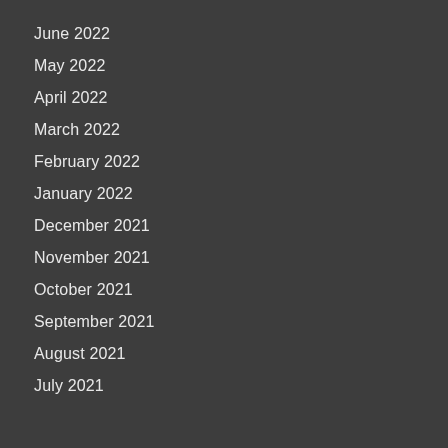June 2022
May 2022
April 2022
March 2022
February 2022
January 2022
December 2021
November 2021
October 2021
September 2021
August 2021
July 2021